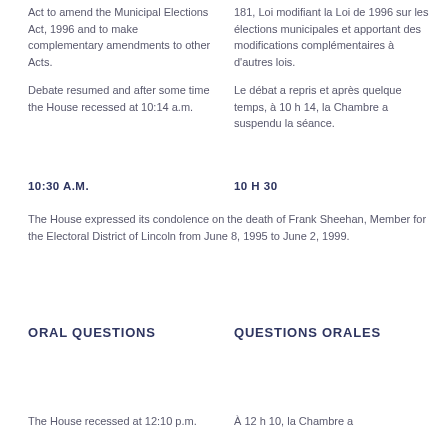Act to amend the Municipal Elections Act, 1996 and to make complementary amendments to other Acts.
181, Loi modifiant la Loi de 1996 sur les élections municipales et apportant des modifications complémentaires à d'autres lois.
Debate resumed and after some time the House recessed at 10:14 a.m.
Le débat a repris et après quelque temps, à 10 h 14, la Chambre a suspendu la séance.
10:30 A.M.
10 H 30
The House expressed its condolence on the death of Frank Sheehan, Member for the Electoral District of Lincoln from June 8, 1995 to June 2, 1999.
ORAL QUESTIONS
QUESTIONS ORALES
The House recessed at 12:10 p.m.
À 12 h 10, la Chambre a